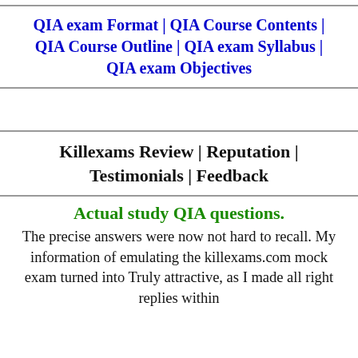QIA exam Format | QIA Course Contents | QIA Course Outline | QIA exam Syllabus | QIA exam Objectives
Killexams Review | Reputation | Testimonials | Feedback
Actual study QIA questions. The precise answers were now not hard to recall. My information of emulating the killexams.com mock exam turned into Truly attractive, as I made all right replies within